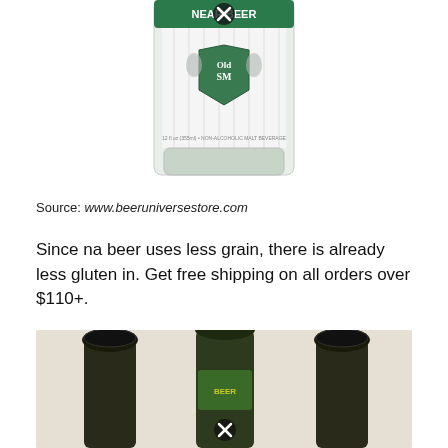[Figure (photo): A glass bottle with a green and white label showing 'Old SM' crest logo and 'NEAR BEER' text. The bottle appears to be a non-alcoholic malt beverage. A close-up UI close/X icon overlay is visible near the top.]
Source: www.beeruniversestore.com
Since na beer uses less grain, there is already less gluten in. Get free shipping on all orders over $110+.
[Figure (photo): Three dark beer bottles with caps visible from above, showing tops with green labels. A close/X icon overlay is visible on the middle bottle. Background is a light beige/off-white surface.]